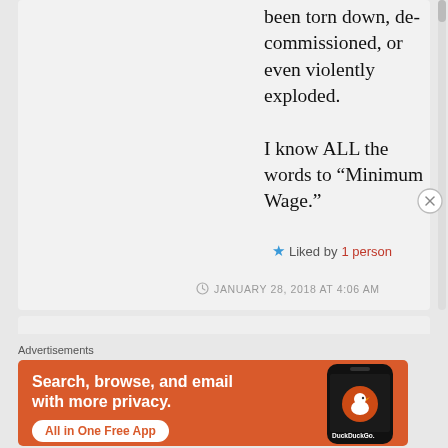been torn down, decommissioned, or even violently exploded.

I know ALL the words to “Minimum Wage.”
★ Liked by 1 person
JANUARY 28, 2018 AT 4:06 AM
Advertisements
[Figure (screenshot): DuckDuckGo advertisement banner with orange background showing 'Search, browse, and email with more privacy. All in One Free App' with a phone showing the DuckDuckGo logo]